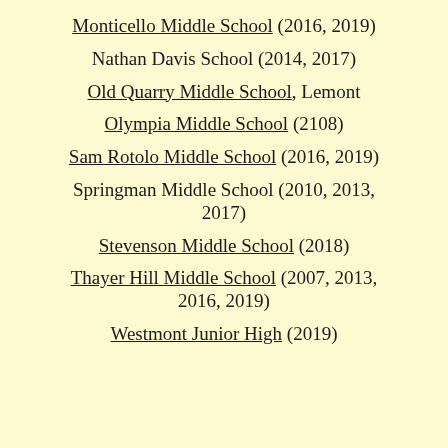Monticello Middle School (2016, 2019)
Nathan Davis School (2014, 2017)
Old Quarry Middle School, Lemont
Olympia Middle School (2108)
Sam Rotolo Middle School (2016, 2019)
Springman Middle School (2010, 2013, 2017)
Stevenson Middle School (2018)
Thayer Hill Middle School (2007, 2013, 2016, 2019)
Westmont Junior High (2019)